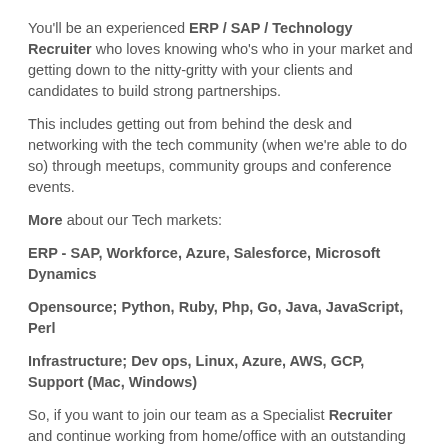You'll be an experienced ERP / SAP / Technology Recruiter who loves knowing who's who in your market and getting down to the nitty-gritty with your clients and candidates to build strong partnerships.
This includes getting out from behind the desk and networking with the tech community (when we're able to do so) through meetups, community groups and conference events.
More about our Tech markets:
ERP - SAP, Workforce, Azure, Salesforce, Microsoft Dynamics
Opensource; Python, Ruby, Php, Go, Java, JavaScript, Perl
Infrastructure; Dev ops, Linux, Azure, AWS, GCP, Support (Mac, Windows)
So, if you want to join our team as a Specialist Recruiter and continue working from home/office with an outstanding work-life balance along with financial success now and after Covid19, then please get in touch!
As always, all communication is confidential and can be scheduled outside working hours.